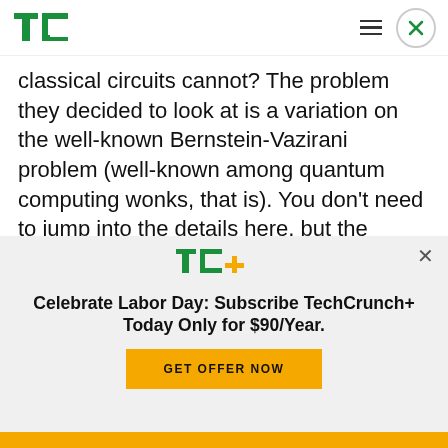TechCrunch logo, hamburger menu, close button
classical circuits cannot? The problem they decided to look at is a variation on the well-known Bernstein-Vazirani problem (well-known among quantum computing wonks, that is). You don't need to jump into the details here, but the researchers show that even a shallow quantum computer can easily outperform a classical computer in solving this problem.
[Figure (logo): TC+ logo in green and yellow]
Celebrate Labor Day: Subscribe TechCrunch+ Today Only for $90/Year.
GET OFFER NOW